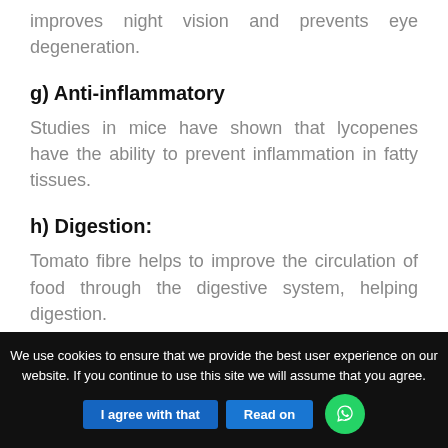improves night vision and prevents eye degeneration.
g) Anti-inflammatory
Studies in mice have shown that lycopenes have the ability to prevent inflammation in fatty tissues.
h) Digestion:
Tomato fibre helps to improve the circulation of food through the digestive system, helping digestion.
We use cookies to ensure that we provide the best user experience on our website. If you continue to use this site we will assume that you agree. I agree with that  Read on